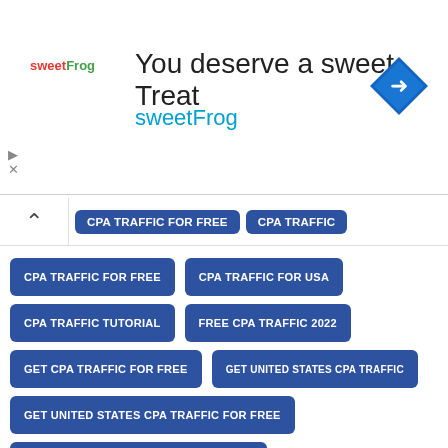[Figure (screenshot): SweetFrog advertisement banner with logo, tagline 'You deserve a sweet Treat', and navigation arrow icon]
CPA TRAFFIC FOR FREE
CPA TRAFFIC
CPA TRAFFIC FOR FREE
CPA TRAFFIC FOR USA
CPA TRAFFIC TUTORIAL
FREE CPA TRAFFIC 2022
GET CPA TRAFFIC FOR FREE
GET UNITED STATES CPA TRAFFIC
GET UNITED STATES CPA TRAFFIC FOR FREE
GET UNITED STATES CPA TRAFFIC FREE
GET UNITED STATES CPA TRAFFIC IN 2022
GET US CPA TRAFFIC FOR FREE
HOW TO FIND OUT CPA TRAFFIC FOR USA